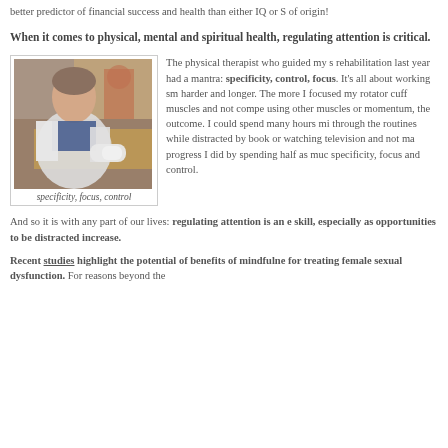better predictor of financial success and health than either IQ or S of origin!
When it comes to physical, mental and spiritual health, regulating attention is critical.
[Figure (photo): A woman in a white jacket sitting at a rehabilitation table, with a rolled bandage on her arm, in a physical therapy setting.]
specificity, focus, control
The physical therapist who guided my shoulder rehabilitation last year had a mantra: specificity, control, focus. It's all about working smarter harder and longer. The more I focused my rotator cuff muscles and not compensating using other muscles or momentum, the better the outcome. I could spend many hours mindlessly through the routines while distracted by reading a book or watching television and not make as much progress I did by spending half as much time with specificity, focus and control.
And so it is with any part of our lives: regulating attention is an essential skill, especially as opportunities to be distracted increase.
Recent studies highlight the potential of benefits of mindfulness for treating female sexual dysfunction. For reasons beyond the